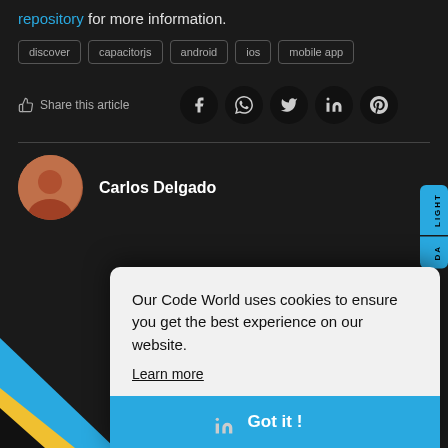repository for more information.
discover
capacitorjs
android
ios
mobile app
Share this article
[Figure (screenshot): Social share buttons: Facebook, WhatsApp, Twitter, LinkedIn, Pinterest]
Carlos Delgado
[Figure (screenshot): Cookie consent modal: 'Our Code World uses cookies to ensure you get the best experience on our website. Learn more' with a 'Got it!' button]
Our Code World uses cookies to ensure you get the best experience on our website.
Learn more
Got it !